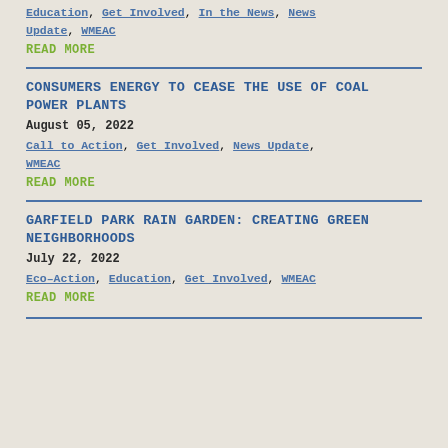Education, Get Involved, In the News, News Update, WMEAC
READ MORE
CONSUMERS ENERGY TO CEASE THE USE OF COAL POWER PLANTS
August 05, 2022
Call to Action, Get Involved, News Update, WMEAC
READ MORE
GARFIELD PARK RAIN GARDEN: CREATING GREEN NEIGHBORHOODS
July 22, 2022
Eco-Action, Education, Get Involved, WMEAC
READ MORE